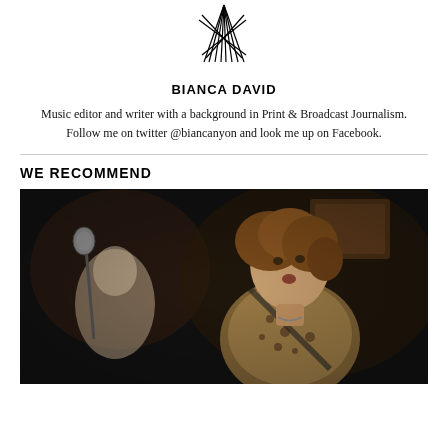[Figure (logo): Abstract geometric logo with intersecting diagonal lines forming a star/burst shape, rendered in black line art]
BIANCA DAVID
Music editor and writer with a background in Print & Broadcast Journalism. Follow me on twitter @biancanyon and look me up on Facebook.
WE RECOMMEND
[Figure (photo): A young woman with curly hair playing guitar and singing, wearing a leopard print top, performing on a dark stage. A man is visible in the background at a keyboard/piano. A microphone stand is visible on the left.]